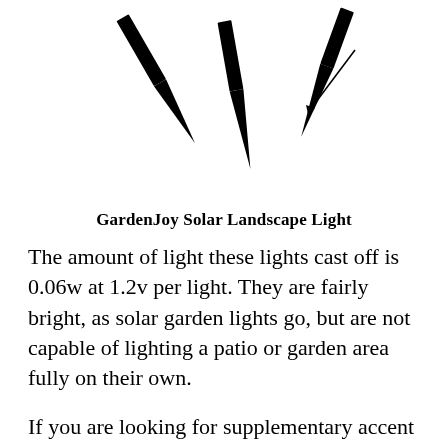[Figure (illustration): Black and white line drawing of GardenJoy Solar Landscape Light stakes shown at angles with pointed ends, resembling plant stakes or garden spikes with an arrow annotation.]
GardenJoy Solar Landscape Light
The amount of light these lights cast off is 0.06w at 1.2v per light. They are fairly bright, as solar garden lights go, but are not capable of lighting a patio or garden area fully on their own.
If you are looking for supplementary accent lighting, these may be a good choice, but if you want task lighting, you may want to look elsewhere.